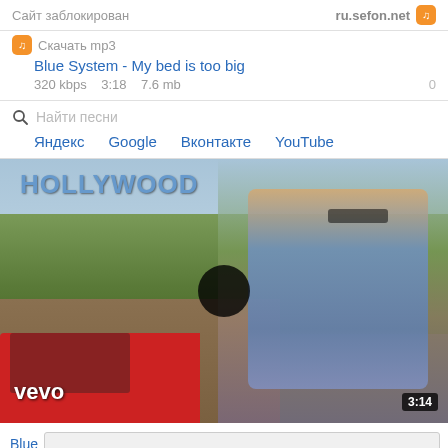Сайт заблокирован   ru.sefon.net
Скачать mp3
Blue System - My bed is too big
320 kbps   3:18   7.6 mb   0
Найти песни
Яндекс   Google   Вконтакте   YouTube
[Figure (screenshot): Video thumbnail showing a woman with sunglasses in a denim jacket near a red car, with Hollywood sign in background. Vevo logo bottom-left, duration 3:14 bottom-right. Play button in center.]
Blue